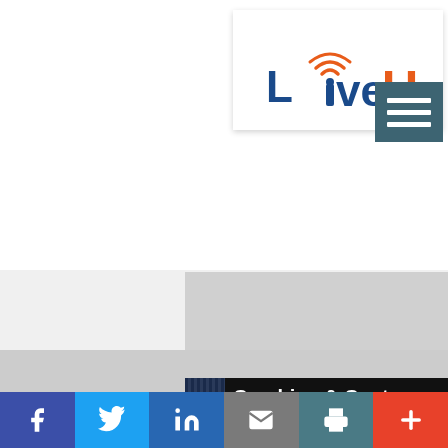[Figure (logo): LiveU logo with orange WiFi signal icon above the letter i, blue text 'Live' and orange text 'U']
[Figure (screenshot): Dark teal/navy hamburger menu button with three white horizontal lines]
[Figure (screenshot): Gray banner placeholder area]
[Figure (screenshot): Dark banner with vertical stripe pattern on left and white bold text reading 'Combine & Capture AV Sources into Software']
Social share bar with Facebook, Twitter, LinkedIn, Email, Print, and More (+) buttons